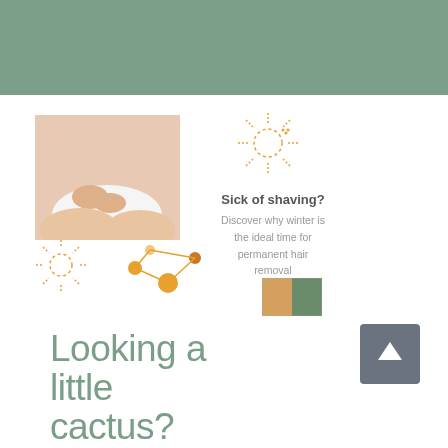[Figure (illustration): Sage green decorative header bar at top of page]
[Figure (photo): Woman's torso and upper legs wearing white underwear, hands near bikini line, skin-care/hair-removal themed image]
[Figure (illustration): Orange hand-drawn sun icon with dotted circle, top right of card]
[Figure (illustration): Orange hand-drawn sun icon, bottom left of card]
[Figure (illustration): Orange molecule/atom icon with dots and connecting lines, bottom center]
Sick of shaving?
Discover why winter is the ideal time for permanent hair removal
[Figure (photo): Small thumbnail preview image (color swatches/promotional image)]
Looking a little cactus?